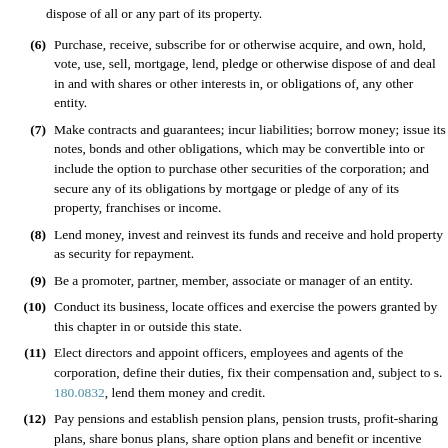dispose of all or any part of its property.
(6) Purchase, receive, subscribe for or otherwise acquire, and own, hold, vote, use, sell, mortgage, lend, pledge or otherwise dispose of and deal in and with shares or other interests in, or obligations of, any other entity.
(7) Make contracts and guarantees; incur liabilities; borrow money; issue its notes, bonds and other obligations, which may be convertible into or include the option to purchase other securities of the corporation; and secure any of its obligations by mortgage or pledge of any of its property, franchises or income.
(8) Lend money, invest and reinvest its funds and receive and hold property as security for repayment.
(9) Be a promoter, partner, member, associate or manager of an entity.
(10) Conduct its business, locate offices and exercise the powers granted by this chapter in or outside this state.
(11) Elect directors and appoint officers, employees and agents of the corporation, define their duties, fix their compensation and, subject to s. 180.0832, lend them money and credit.
(12) Pay pensions and establish pension plans, pension trusts, profit-sharing plans, share bonus plans, share option plans and benefit or incentive plans for any or all of its current or former directors, officers, employees and agents of the corporation and its subsidiaries.